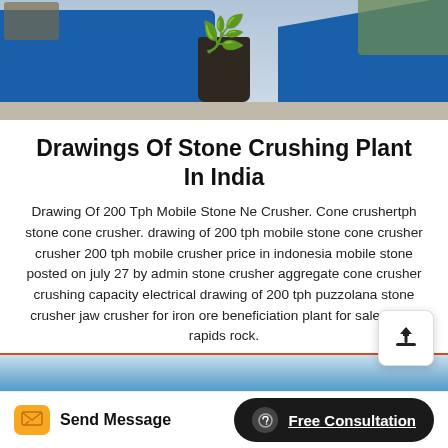[Figure (photo): Photo of a blue industrial stone crushing machine with a potted plant in front, on a concrete surface with plants in background.]
Drawings Of Stone Crushing Plant In India
Drawing Of 200 Tph Mobile Stone Ne Crusher. Cone crushertph stone cone crusher. drawing of 200 tph mobile stone cone crusher crusher 200 tph mobile crusher price in indonesia mobile stone posted on july 27 by admin stone crusher aggregate cone crusher crushing capacity electrical drawing of 200 tph puzzolana stone crusher jaw crusher for iron ore beneficiation plant for sale cedar rapids rock.
[Figure (photo): Partial view of a second industrial machinery photo at the bottom of the page.]
Send Message   Free Consultation